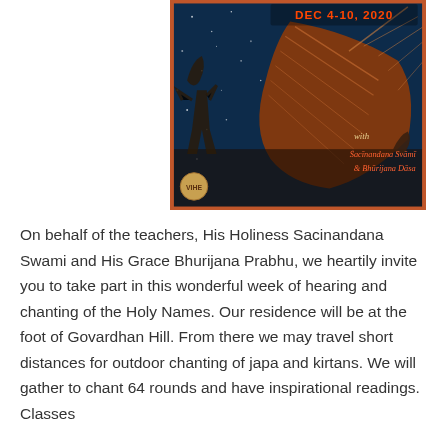[Figure (illustration): Event promotional image for Dec 4-10, 2020 retreat with Sacinandana Svami and Bhurijana Dasa. Dark blue starry background with large decorative drum/instrument in orange-red tones, figures dancing/celebrating. Orange border around image.]
On behalf of the teachers, His Holiness Sacinandana Swami and His Grace Bhurijana Prabhu, we heartily invite you to take part in this wonderful week of hearing and chanting of the Holy Names. Our residence will be at the foot of Govardhan Hill. From there we may travel short distances for outdoor chanting of japa and kirtans. We will gather to chant 64 rounds and have inspirational readings. Classes